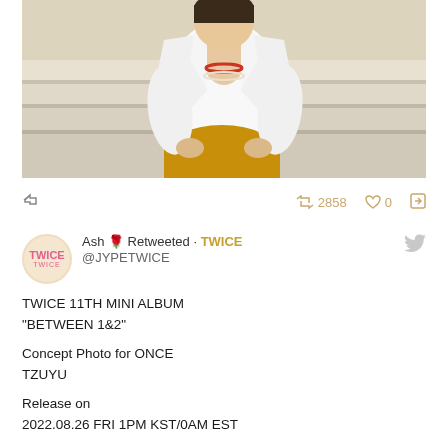[Figure (photo): A person wearing a white open shirt and mustard/golden yellow pants, sitting on white marble steps. They wear a red/orange necklace and a pearl necklace. The background shows white stone steps in a bright, minimalist setting.]
↩  2858  ♡ 0  ↗
Ash 🌹 Retweeted · TWICE
@JYPETWICE
TWICE 11TH MINI ALBUM
"BETWEEN 1&2"

Concept Photo for ONCE
TZUYU

Release on
2022.08.26 FRI 1PM KST/0AM EST